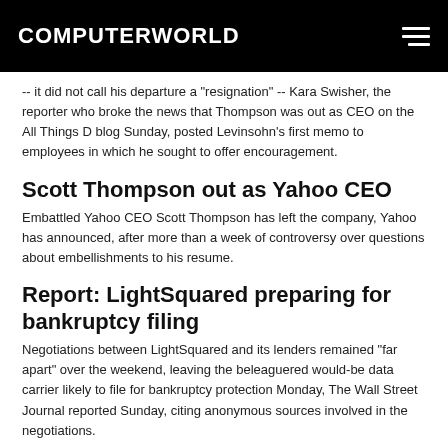COMPUTERWORLD
-- it did not call his departure a "resignation" -- Kara Swisher, the reporter who broke the news that Thompson was out as CEO on the All Things D blog Sunday, posted Levinsohn's first memo to employees in which he sought to offer encouragement.
Scott Thompson out as Yahoo CEO
Embattled Yahoo CEO Scott Thompson has left the company, Yahoo has announced, after more than a week of controversy over questions about embellishments to his resume.
Report: LightSquared preparing for bankruptcy filing
Negotiations between LightSquared and its lenders remained "far apart" over the weekend, leaving the beleaguered would-be data carrier likely to file for bankruptcy protection Monday, The Wall Street Journal reported Sunday, citing anonymous sources involved in the negotiations.